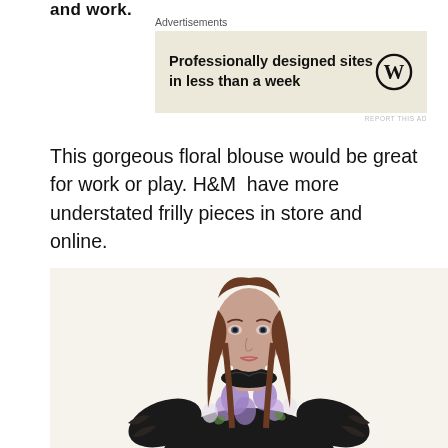and work.
[Figure (screenshot): Advertisement banner with text 'Professionally designed sites in less than a week' and WordPress logo on a beige background]
This gorgeous floral blouse would be great for work or play. H&M  have more understated frilly pieces in store and online.
[Figure (photo): Model wearing a black floral blouse with purple flowers and ruffled sleeves, photographed from the waist up against a light background]